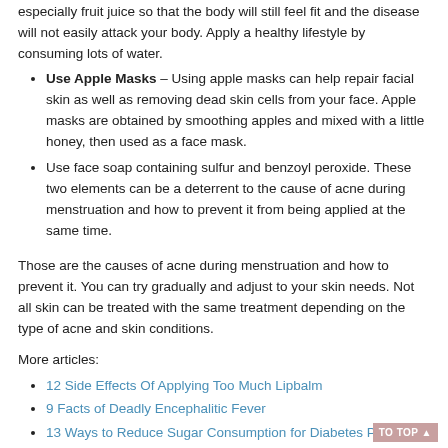especially fruit juice so that the body will still feel fit and the disease will not easily attack your body. Apply a healthy lifestyle by consuming lots of water.
Use Apple Masks – Using apple masks can help repair facial skin as well as removing dead skin cells from your face. Apple masks are obtained by smoothing apples and mixed with a little honey, then used as a face mask.
Use face soap containing sulfur and benzoyl peroxide. These two elements can be a deterrent to the cause of acne during menstruation and how to prevent it from being applied at the same time.
Those are the causes of acne during menstruation and how to prevent it. You can try gradually and adjust to your skin needs. Not all skin can be treated with the same treatment depending on the type of acne and skin conditions.
More articles:
12 Side Effects Of Applying Too Much Lipbalm
9 Facts of Deadly Encephalitic Fever
13 Ways to Reduce Sugar Consumption for Diabetes Patient
Procedure for Gum Biopsy and its Benefits